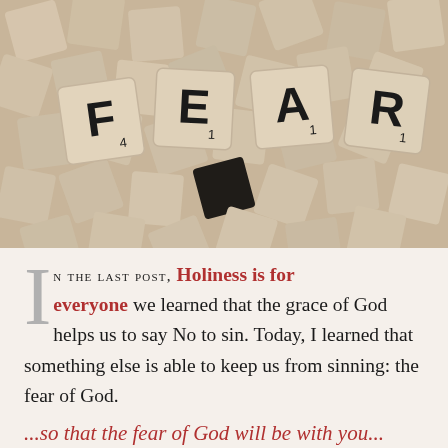[Figure (photo): Overhead photo of many wooden Scrabble tiles scattered on a surface, with four tiles prominently spelling out F, E, A, R]
In the last post, Holiness is for everyone we learned that the grace of God helps us to say No to sin. Today, I learned that something else is able to keep us from sinning: the fear of God.
...so that the fear of God will be with you...